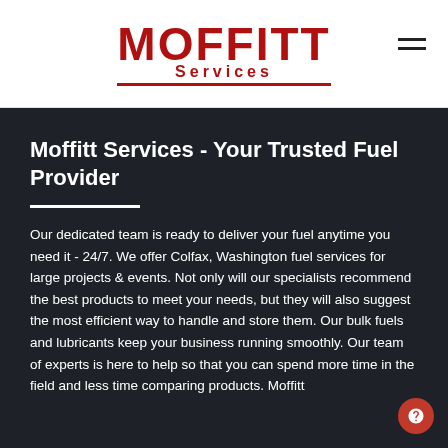[Figure (logo): Moffitt Services logo with red bold text and underline]
Moffitt Services - Your Trusted Fuel Provider
Our dedicated team is ready to deliver your fuel anytime you need it - 24/7. We offer Colfax, Washington fuel services for large projects & events. Not only will our specialists recommend the best products to meet your needs, but they will also suggest the most efficient way to handle and store them. Our bulk fuels and lubricants keep your business running smoothly. Our team of experts is here to help so that you can spend more time in the field and less time comparing products. Moffitt